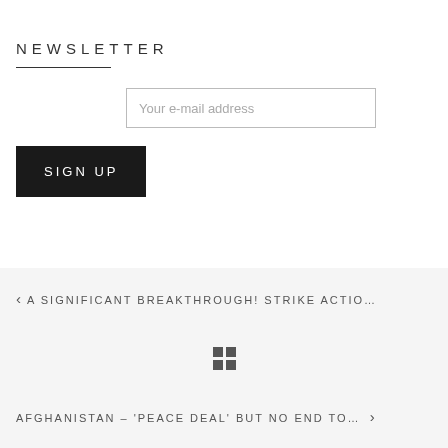NEWSLETTER
Your e-mail address
SIGN UP
‹ A SIGNIFICANT BREAKTHROUGH! STRIKE ACTIO…
[Figure (other): Grid/dashboard icon with four squares]
AFGHANISTAN – 'PEACE DEAL' BUT NO END TO… ›